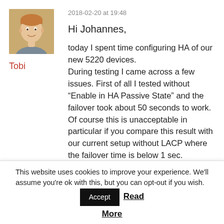[Figure (photo): Profile photo of a man with short hair, smiling, wearing a grey shirt]
Tobi
2018-02-20 at 19:48
Hi Johannes,
today I spent time configuring HA of our new 5220 devices. During testing I came across a few issues. First of all I tested without “Enable in HA Passive State” and the failover took about 50 seconds to work. Of course this is unacceptable in particular if you compare this result with our current setup without LACP where the failover time is below 1 sec. After that there was still a delay of 20
This website uses cookies to improve your experience. We'll assume you're ok with this, but you can opt-out if you wish.
Accept
Read More